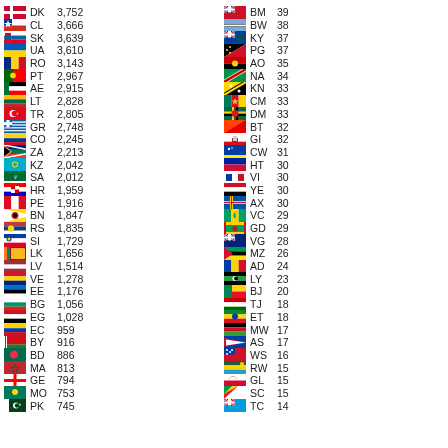| Flag | Code | Value |
| --- | --- | --- |
| DK | 3,752 |
| CL | 3,666 |
| SK | 3,639 |
| UA | 3,610 |
| RO | 3,143 |
| PT | 2,967 |
| AE | 2,915 |
| LT | 2,828 |
| TR | 2,805 |
| GR | 2,748 |
| CO | 2,245 |
| ZA | 2,213 |
| KZ | 2,042 |
| SA | 2,012 |
| HR | 1,959 |
| PE | 1,916 |
| BN | 1,847 |
| RS | 1,835 |
| SI | 1,729 |
| LK | 1,656 |
| LV | 1,514 |
| VE | 1,278 |
| EE | 1,176 |
| BG | 1,056 |
| EG | 1,028 |
| EC | 959 |
| BY | 916 |
| BD | 886 |
| MA | 813 |
| GE | 794 |
| MO | 753 |
| PK | 745 |
| BM | 39 |
| BW | 38 |
| KY | 37 |
| PG | 37 |
| AO | 35 |
| NA | 34 |
| KN | 33 |
| CM | 33 |
| DM | 33 |
| BT | 32 |
| GI | 32 |
| CW | 31 |
| HT | 30 |
| VI | 30 |
| YE | 30 |
| AX | 30 |
| VC | 29 |
| GD | 29 |
| VG | 28 |
| MZ | 26 |
| AD | 24 |
| LY | 23 |
| BJ | 20 |
| TJ | 18 |
| ET | 18 |
| MW | 17 |
| AS | 17 |
| WS | 16 |
| RW | 15 |
| GL | 15 |
| SC | 15 |
| TC | 14 |